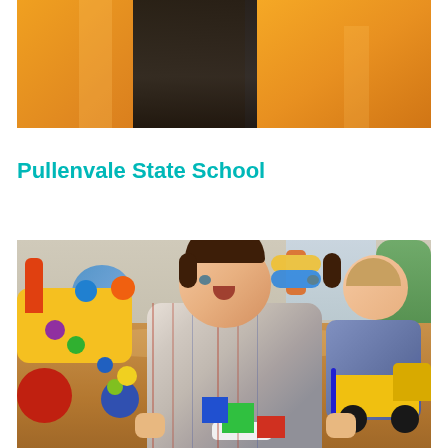[Figure (photo): Partial photo of people wearing orange shirts, cropped showing torsos, with a person in black in the center]
Pullenvale State School
[Figure (photo): Two toddler boys playing on a wooden floor surrounded by colorful toys including a yellow walker toy, building blocks, and a yellow truck. The main child in the foreground is crawling toward the camera wearing a plaid shirt.]